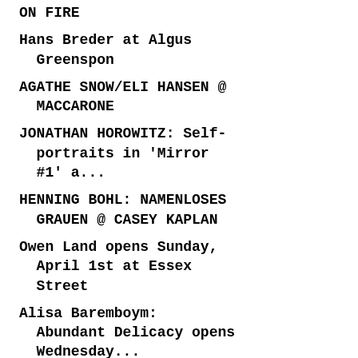ON FIRE
Hans Breder at Algus Greenspon
AGATHE SNOW/ELI HANSEN @ MACCARONE
JONATHAN HOROWITZ: Self-portraits in 'Mirror #1' a...
HENNING BOHL: NAMENLOSES GRAUEN @ CASEY KAPLAN
Owen Land opens Sunday, April 1st at Essex Street
Alisa Baremboym: Abundant Delicacy opens Wednesday...
"New York," 1993, FRANZ WEST
"Elenka," 1936, Alice